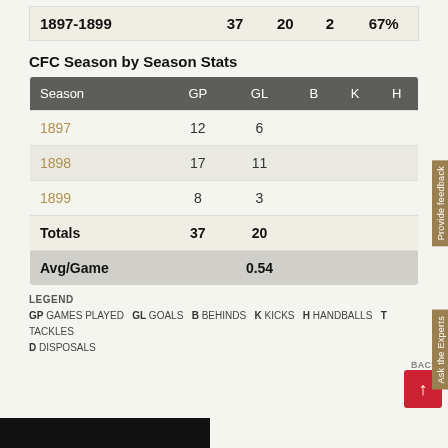|  |  |  |  |  |
| --- | --- | --- | --- | --- |
| 1897-1899 | 37 | 20 | 2 | 67% |
CFC Season by Season Stats
| Season | GP | GL | B | K | H |
| --- | --- | --- | --- | --- | --- |
| 1897 | 12 | 6 |  |  |  |
| 1898 | 17 | 11 |  |  |  |
| 1899 | 8 | 3 |  |  |  |
| Totals | 37 | 20 |  |  |  |
| Avg/Game |  | 0.54 |  |  |  |
LEGEND GP GAMES PLAYED GL GOALS B BEHINDS K KICKS H HANDBALLS T TACKLES D DISPOSALS